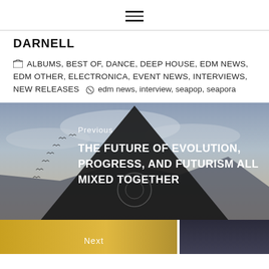≡ (hamburger menu icon)
DARNELL
ALBUMS, BEST OF, DANCE, DEEP HOUSE, EDM NEWS, EDM OTHER, ELECTRONICA, EVENT NEWS, INTERVIEWS, NEW RELEASES  edm news, interview, seapop, seapora
[Figure (photo): Navigation block showing previous article link with dark atmospheric image featuring a large black triangle silhouette against a cloudy sky with birds flying. Text overlay: Previous / THE FUTURE OF EVOLUTION, PROGRESS, AND FUTURISM ALL MIXED TOGETHER]
[Figure (photo): Bottom strip showing Next navigation with two partial images]